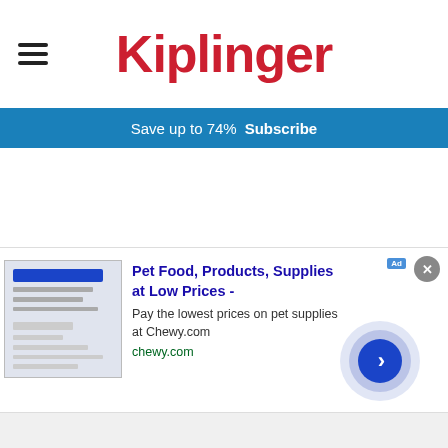Kiplinger
Save up to 74%  Subscribe
[Figure (screenshot): Advertisement for Chewy.com pet supplies. Shows thumbnail image of a Chewy webpage, ad title 'Pet Food, Products, Supplies at Low Prices -', description 'Pay the lowest prices on pet supplies at Chewy.com', link 'chewy.com', with a circular next/play button on the right and a close X button.]